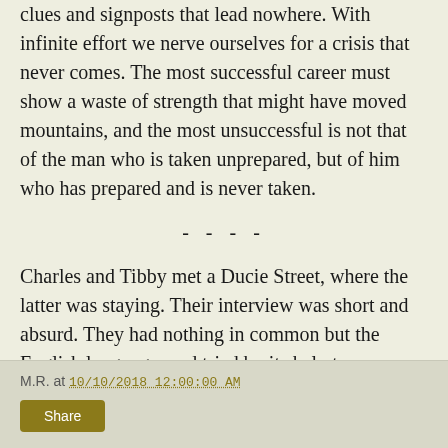clues and signposts that lead nowhere. With infinite effort we nerve ourselves for a crisis that never comes. The most successful career must show a waste of strength that might have moved mountains, and the most unsuccessful is not that of the man who is taken unprepared, but of him who has prepared and is never taken.
- - - -
Charles and Tibby met a Ducie Street, where the latter was staying. Their interview was short and absurd. They had nothing in common but the English language, and tried by its help to express what neither of them understood.
- - - -
M.R. at 10/10/2018 12:00:00 AM  Share